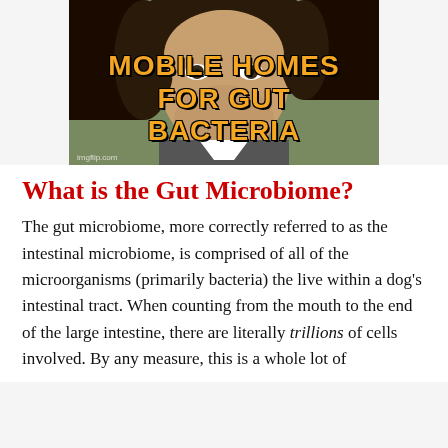[Figure (photo): Meme image showing a man with a surprised/confused expression, with bold orange text overlay reading 'MOBILE HOMES FOR GUT BACTERIA'. Watermark 'imgflip.com' at bottom left.]
What is the Gut Microbiome?
The gut microbiome, more correctly referred to as the intestinal microbiome, is comprised of all of the microorganisms (primarily bacteria) the live within a dog’s intestinal tract. When counting from the mouth to the end of the large intestine, there are literally trillions of cells involved. By any measure, this is a whole lot of